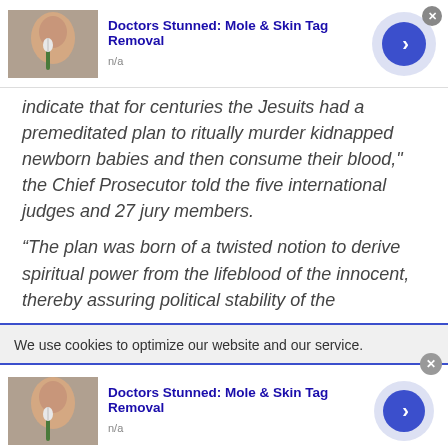[Figure (screenshot): Top advertisement banner: image of person with toothbrush near face, title 'Doctors Stunned: Mole & Skin Tag Removal', subtitle 'n/a', blue circle arrow button, close X button]
indicate that for centuries the Jesuits had a premeditated plan to ritually murder kidnapped newborn babies and then consume their blood," the Chief Prosecutor told the five international judges and 27 jury members.
“The plan was born of a twisted notion to derive spiritual power from the lifeblood of the innocent, thereby assuring political stability of the
We use cookies to optimize our website and our service.
[Figure (screenshot): Bottom advertisement banner: image of person with toothbrush near face, title 'Doctors Stunned: Mole & Skin Tag Removal', subtitle 'n/a', blue circle arrow button, close X button]